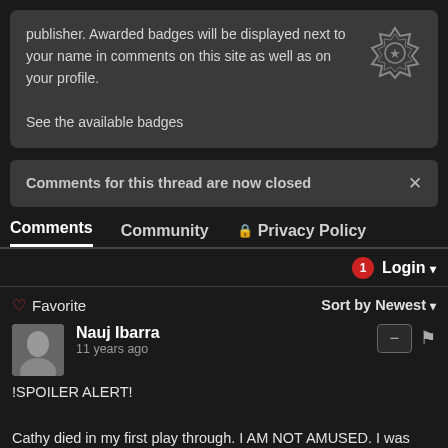publisher. Awarded badges will be displayed next to your name in comments on this site as well as on your profile.
See the available badges
Comments for this thread are now closed
Comments   Community   🔒 Privacy Policy
Login
♡ Favorite   Sort by Newest
Nauj Ibarra
11 years ago

!SPOILER ALERT!

Cathy died in my first play through. I AM NOT AMUSED. I was going for the Cathy ending.. I seriously can't wait for this!